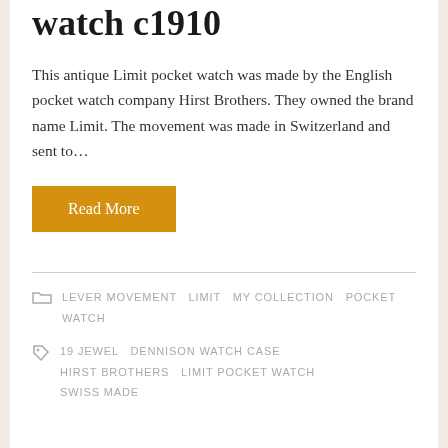watch c1910
This antique Limit pocket watch was made by the English pocket watch company Hirst Brothers. They owned the brand name Limit. The movement was made in Switzerland and sent to…
Read More
LEVER MOVEMENT  LIMIT  MY COLLECTION  POCKET WATCH
19 JEWEL  DENNISON WATCH CASE  HIRST BROTHERS  LIMIT POCKET WATCH  SWISS MADE